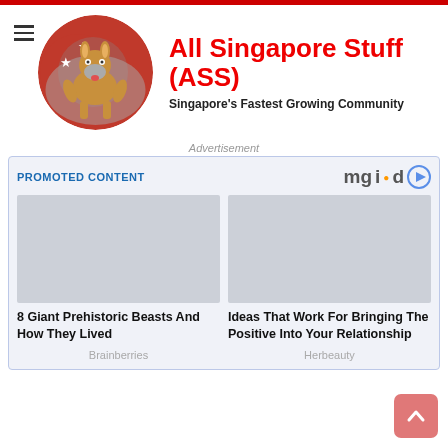[Figure (logo): All Singapore Stuff (ASS) website header with circular logo showing a cartoon donkey on Singapore flag background, red site title and subtitle]
All Singapore Stuff (ASS)
Singapore's Fastest Growing Community
Advertisement
PROMOTED CONTENT
8 Giant Prehistoric Beasts And How They Lived
Brainberries
Ideas That Work For Bringing The Positive Into Your Relationship
Herbeauty